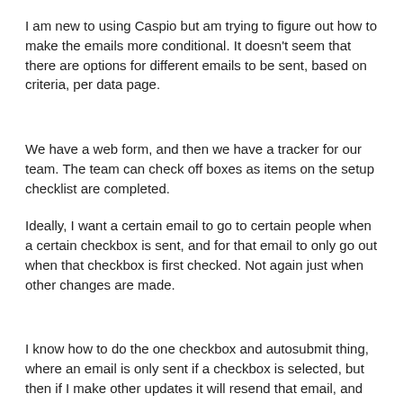I am new to using Caspio but am trying to figure out how to make the emails more conditional. It doesn't seem that there are options for different emails to be sent, based on criteria, per data page.
We have a web form, and then we have a tracker for our team. The team can check off boxes as items on the setup checklist are completed.
Ideally, I want a certain email to go to certain people when a certain checkbox is sent, and for that email to only go out when that checkbox is first checked. Not again just when other changes are made.
I know how to do the one checkbox and autosubmit thing, where an email is only sent if a checkbox is selected, but then if I make other updates it will resend that email, and that doesn't work. And it doesn't seem to be able to do multiples in a row like:
Submit
Goes to Datapage, sends email if match
Goes to next Datapage, sends email if match